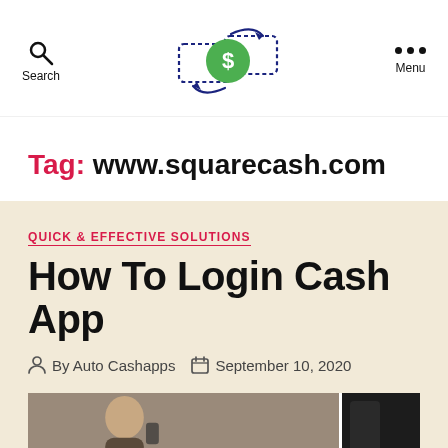Search | [logo] | Menu
Tag: www.squarecash.com
QUICK & EFFECTIVE SOLUTIONS
How To Login Cash App
By Auto Cashapps   September 10, 2020
[Figure (photo): Article thumbnail photo with two panels showing people using phones/cash app]